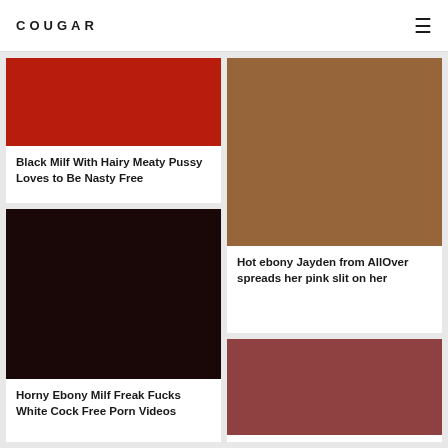COUGAR
[Figure (photo): Red colored thumbnail image placeholder]
Black Milf With Hairy Meaty Pussy Loves to Be Nasty Free
[Figure (photo): Brown colored thumbnail image placeholder]
Hot ebony Jayden from AllOver spreads her pink slit on her
[Figure (photo): Dark brown/black colored thumbnail image placeholder]
Horny Ebony Milf Freak Fucks White Cock Free Porn Videos
[Figure (photo): Muted red/mauve colored thumbnail image placeholder]